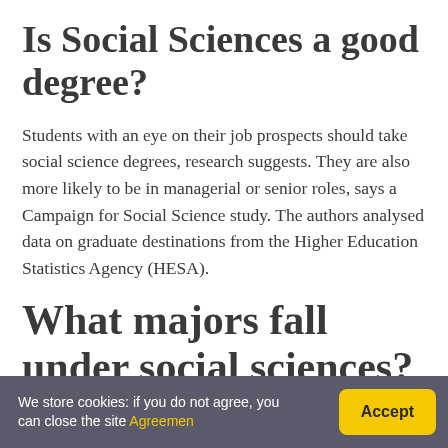Is Social Sciences a good degree?
Students with an eye on their job prospects should take social science degrees, research suggests. They are also more likely to be in managerial or senior roles, says a Campaign for Social Science study. The authors analysed data on graduate destinations from the Higher Education Statistics Agency (HESA).
What majors fall under social sciences?
We store cookies: if you do not agree, you can close the site Agreement